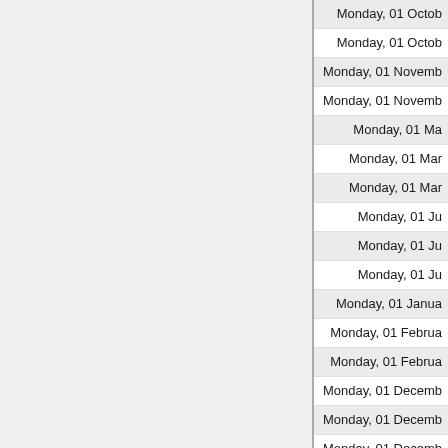| Date |
| --- |
| Monday, 01 Octob… |
| Monday, 01 Octob… |
| Monday, 01 Novemb… |
| Monday, 01 Novemb… |
| Monday, 01 Ma… |
| Monday, 01 Mar… |
| Monday, 01 Mar… |
| Monday, 01 Ju… |
| Monday, 01 Ju… |
| Monday, 01 Ju… |
| Monday, 01 Janua… |
| Monday, 01 Februa… |
| Monday, 01 Februa… |
| Monday, 01 Decemb… |
| Monday, 01 Decemb… |
| Monday, 01 Decemb… |
| Monday, 01 Augu… |
| Monday, 01 Augu… |
| Monday, 01 Ap… |
| Friday, 31 Octob… |
| Friday, 31 Octob… |
| Friday, 31 Octob… |